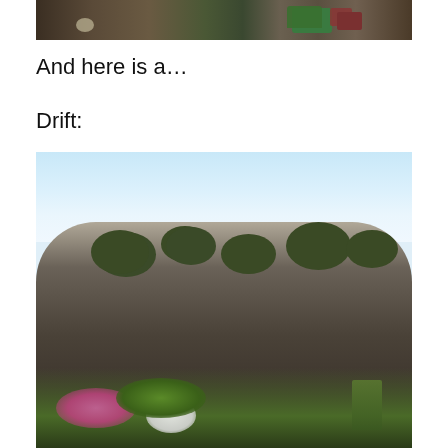[Figure (photo): Top portion of a photo showing dark soil/ground with green plants and reddish-purple leaves, and a white rock]
And here is a…
Drift:
[Figure (photo): Photo of a drift — a traditional stone wall or rock pile covered with moss and lichen, with pink heather flowers, white flowers, and green moss at the base, against a pale blue sky background]